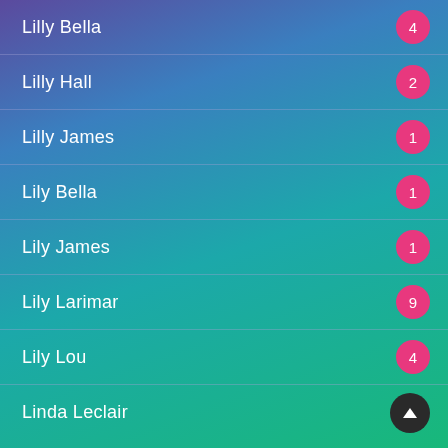Lilly Bella
Lilly Hall
Lilly James
Lily Bella
Lily James
Lily Larimar
Lily Lou
Linda Leclair